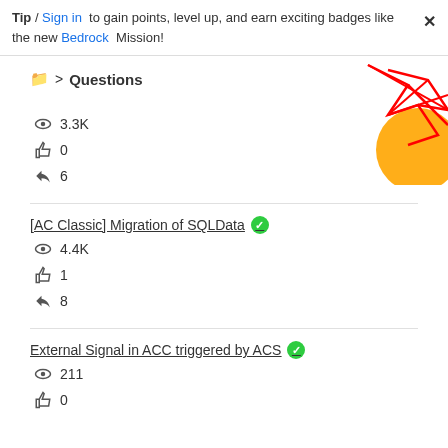Tip / Sign in to gain points, level up, and earn exciting badges like the new Bedrock Mission!
Questions
[Figure (illustration): Decorative geometric red lines with orange circle in top-right corner]
3.3K views, 0 likes, 6 replies
[AC Classic] Migration of SQLData (answered)
4.4K views, 1 like, 8 replies
External Signal in ACC triggered by ACS (answered)
211 views, 0 likes